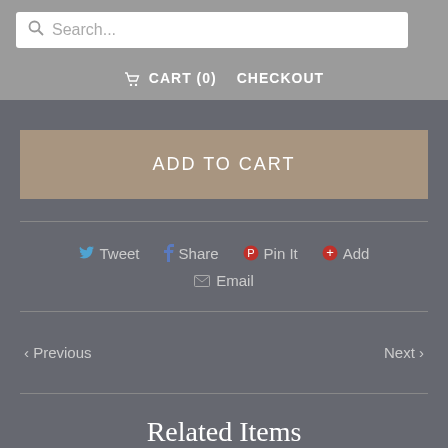[Figure (screenshot): Search bar with magnifying glass icon and placeholder text 'Search...']
CART (0)   CHECKOUT
ADD TO CART
Tweet   Share   Pin It   Add
Email
< Previous   Next >
Related Items